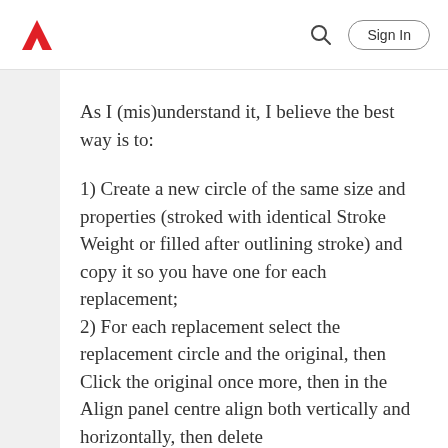Adobe (logo) | Search | Sign In
As I (mis)understand it, I believe the best way is to:
1) Create a new circle of the same size and properties (stroked with identical Stroke Weight or filled after outlining stroke) and copy it so you have one for each replacement;
2) For each replacement select the replacement circle and the original, then Click the original once more, then in the Align panel centre align both vertically and horizontally, then delete